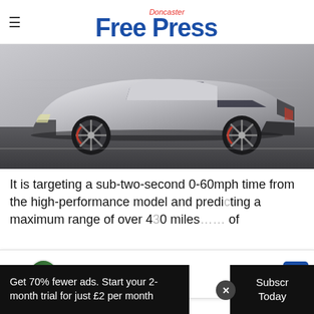Doncaster Free Press
[Figure (photo): A silver high-performance sports car concept in motion, photographed from the side against a blurred grey background, low to the ground with aggressive aerodynamic styling and large alloy wheels.]
It is targeting a sub-two-second 0-60mph time from the high-performance model and predicting a maximum range of over 430 miles... of
[Figure (other): Advertisement banner: 'Brake Special Near You — Virginia Tire & Auto of Ashburn ...' with a circular logo showing 'thro auto' and a blue navigation arrow icon on the right.]
Get 70% fewer ads. Start your 2-month trial for just £2 per month
Subscribe Today